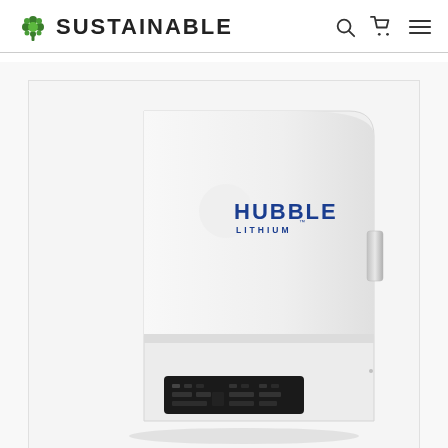SUSTAINABLE
[Figure (photo): Hubble Lithium battery energy storage unit — a large white wall-mounted rectangular enclosure with rounded top-right corner, featuring the Hubble Lithium logo (blue crescent arc with HUBBLE LITHIUM text) centered on the upper panel, a metallic handle on the right side, and a black control panel with indicator lights and connectors at the bottom.]